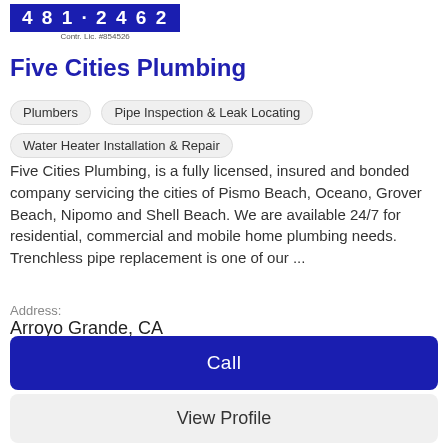[Figure (logo): Blue banner with phone number 481·2462, and Contr. Lic. #854526 below]
Five Cities Plumbing
Plumbers
Pipe Inspection & Leak Locating
Water Heater Installation & Repair
Five Cities Plumbing, is a fully licensed, insured and bonded company servicing the cities of Pismo Beach, Oceano, Grover Beach, Nipomo and Shell Beach. We are available 24/7 for residential, commercial and mobile home plumbing needs. Trenchless pipe replacement is one of our ...
Address:
Arroyo Grande, CA
Phone:
(805) 481-2462
Reviews:
4.7 - 7
Call
View Profile